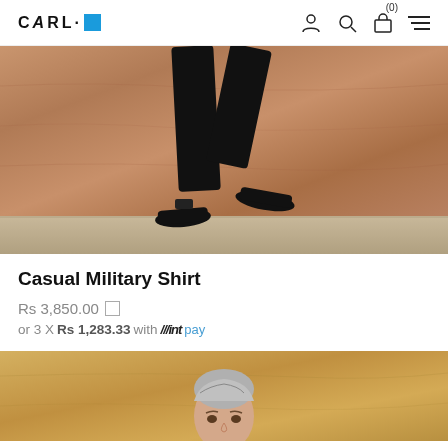CARL·O
[Figure (photo): Fashion product photo showing a person's legs in black pants and black loafers/shoes against a warm brown stone/marble wall background]
Casual Military Shirt
Rs 3,850.00
or 3 X Rs 1,283.33 with mintpay
[Figure (photo): Fashion product photo showing a male model with light grey hair against a warm golden-brown stone background, partially visible]